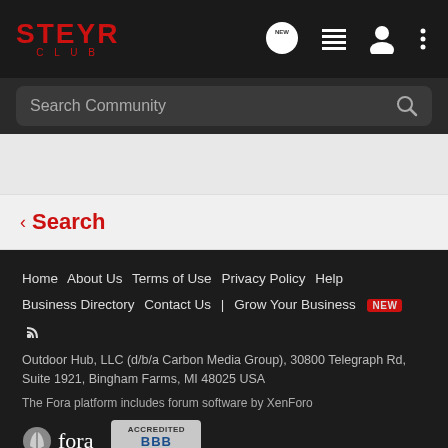STEYR CLUB
Search Community
< Search
Home  About Us  Terms of Use  Privacy Policy  Help  Business Directory  Contact Us  |  Grow Your Business  NEW
Outdoor Hub, LLC (d/b/a Carbon Media Group), 30800 Telegraph Rd, Suite 1921, Bingham Farms, MI 48025 USA
The Fora platform includes forum software by XenForo